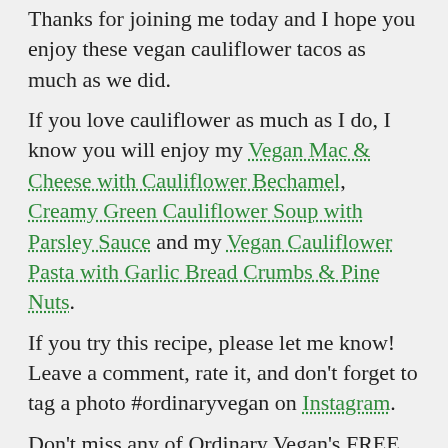Thanks for joining me today and I hope you enjoy these vegan cauliflower tacos as much as we did.
If you love cauliflower as much as I do, I know you will enjoy my Vegan Mac & Cheese with Cauliflower Bechamel, Creamy Green Cauliflower Soup with Parsley Sauce and my Vegan Cauliflower Pasta with Garlic Bread Crumbs & Pine Nuts.
If you try this recipe, please let me know!  Leave a comment, rate it, and don't forget to tag a photo #ordinaryvegan on Instagram.
Don't miss any of Ordinary Vegan's FREE recipes by signing up here.
If you want to learn more about plant-based nutrition and how to get started on a vegan diet, Ordinary Vegan has a podcast. You can listen here on this